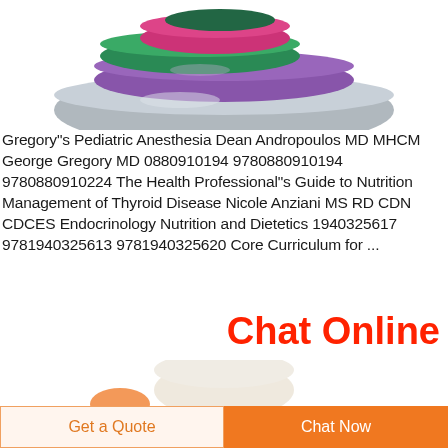[Figure (photo): Colorful stacked medical lids or caps (pink, green, purple, grey) photographed from above on a white background, cropped at top.]
Gregory"s Pediatric Anesthesia Dean Andropoulos MD MHCM George Gregory MD 0880910194 9780880910194 9780880910224 The Health Professional"s Guide to Nutrition Management of Thyroid Disease Nicole Anziani MS RD CDN CDCES Endocrinology Nutrition and Dietetics 1940325617 9781940325613 9781940325620 Core Curriculum for ...
Chat Online
[Figure (photo): Medical container or cup partially visible at bottom of page, white background.]
Get a Quote
Chat Now